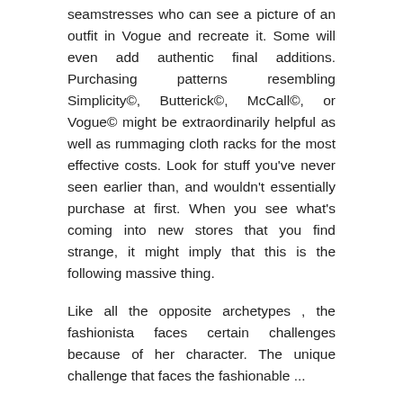seamstresses who can see a picture of an outfit in Vogue and recreate it. Some will even add authentic final additions. Purchasing patterns resembling Simplicity©, Butterick©, McCall©, or Vogue© might be extraordinarily helpful as well as rummaging cloth racks for the most effective costs. Look for stuff you've never seen earlier than, and wouldn't essentially purchase at first. When you see what's coming into new stores that you find strange, it might imply that this is the following massive thing.
Like all the opposite archetypes , the fashionista faces certain challenges because of her character. The unique challenge that faces the fashionable ...
Posted in Fashionista  Tagged culture, getting, korean, south
Global Fashion Agenda — Pulse Report